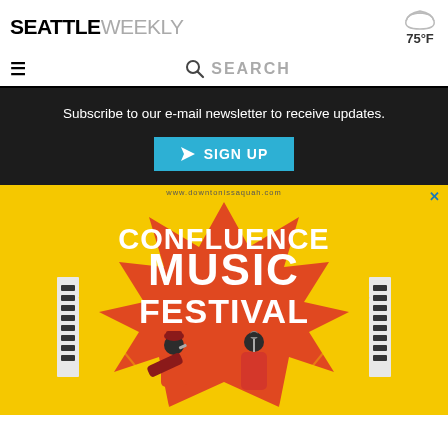SEATTLE WEEKLY — 75°F
☰  🔍 SEARCH
Subscribe to our e-mail newsletter to receive updates.
✈ SIGN UP
[Figure (illustration): Advertisement for Confluence Music Festival. Yellow background with orange star burst shape, white bold text reading CONFLUENCE MUSIC FESTIVAL, illustration of two musicians performing on stage with speaker towers. URL: www.downtonissaquah.com]
www.downtonissaquah.com